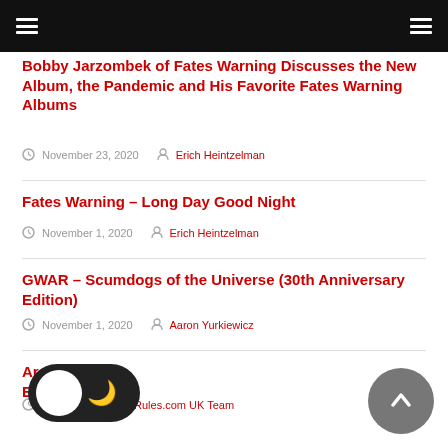Bobby Jarzombek of Fates Warning Discusses the New Album, the Pandemic and His Favorite Fates Warning Albums
November 23, 2020  Erich Heintzelman
Fates Warning – Long Day Good Night
November 1, 2020  Erich Heintzelman
GWAR – Scumdogs of the Universe (30th Anniversary Edition)
November 1, 2020  Aaron Yurkiewicz
Ar___akh – Endarkenment
_____ 2020  Metal-Rules.com UK Team